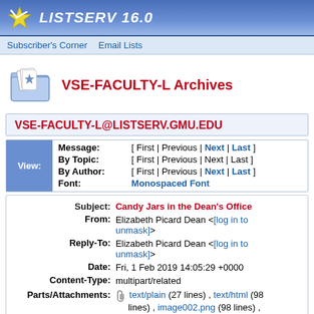LISTSERV 16.0
Subscriber's Corner   Email Lists
VSE-FACULTY-L Archives
VSE-FACULTY-L@LISTSERV.GMU.EDU
| View: | Message: | [ First | Previous | Next | Last ] |
|  | By Topic: | [ First | Previous | Next | Last ] |
|  | By Author: | [ First | Previous | Next | Last ] |
|  | Font: | Monospaced Font |
| Subject: | Candy Jars in the Dean's Office |
| From: | Elizabeth Picard Dean <[log in to unmask]> |
| Reply-To: | Elizabeth Picard Dean <[log in to unmask]> |
| Date: | Fri, 1 Feb 2019 14:05:29 +0000 |
| Content-Type: | multipart/related |
| Parts/Attachments: | text/plain (27 lines) , text/html (98 lines) , image002.png (98 lines) , image003.png (98 lines) |